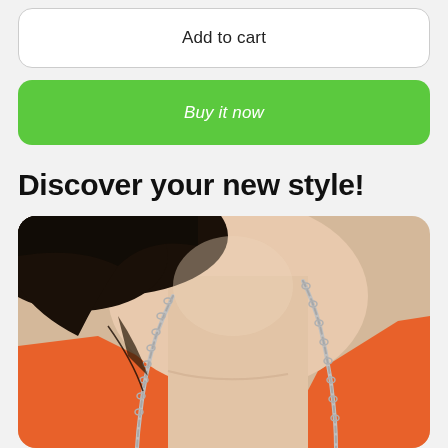Add to cart
Buy it now
Discover your new style!
[Figure (photo): Woman wearing a silver chain necklace over an orange top, close-up of neck and chest area]